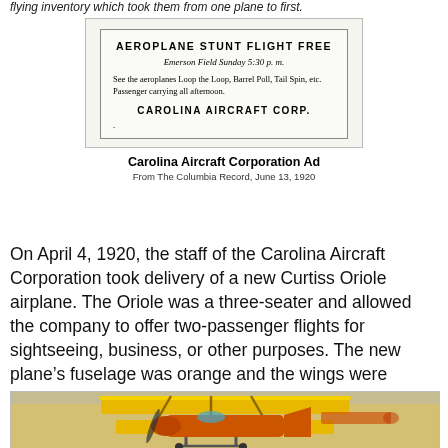flying inventory which took them from one plane to first.
[Figure (other): Scanned newspaper advertisement for Carolina Aircraft Corporation showing 'AEROPLANE STUNT FLIGHT FREE, Emerson Field Sunday 5:30 p.m. See the aeroplanes Loop the Loop, Barrel Roll, Tail Spin, etc. Passenger carrying all afternoon. CAROLINA AIRCRAFT CORP.']
Carolina Aircraft Corporation Ad
From The Columbia Record, June 13, 1920
On April 4, 1920, the staff of the Carolina Aircraft Corporation took delivery of a new Curtiss Oriole airplane.  The Oriole was a three-seater and allowed the company to offer two-passenger flights for sightseeing, business, or other purposes.  The new plane's fuselage was orange and the wings were cream colored.  This paint scheme led Columbian's to quickly nickname the plane, the “Easter Egg”.
[Figure (photo): Photograph of a vintage biplane with yellow/orange wings displayed in a museum or hangar setting.]